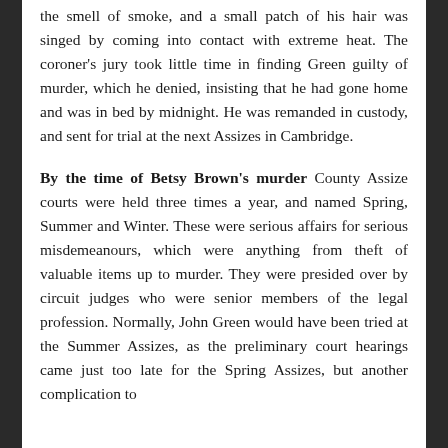the smell of smoke, and a small patch of his hair was singed by coming into contact with extreme heat. The coroner's jury took little time in finding Green guilty of murder, which he denied, insisting that he had gone home and was in bed by midnight. He was remanded in custody, and sent for trial at the next Assizes in Cambridge.
By the time of Betsy Brown's murder County Assize courts were held three times a year, and named Spring, Summer and Winter. These were serious affairs for serious misdemeanours, which were anything from theft of valuable items up to murder. They were presided over by circuit judges who were senior members of the legal profession. Normally, John Green would have been tried at the Summer Assizes, as the preliminary court hearings came just too late for the Spring Assizes, but another complication to